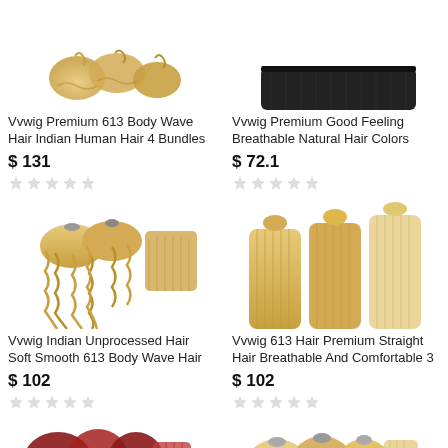[Figure (photo): Vvwig Premium 613 Body Wave Hair product photo - partially cropped at top]
Vvwig Premium 613 Body Wave Hair Indian Human Hair 4 Bundles
$ 131
[Figure (photo): Vvwig Premium Good Feeling Breathable Natural Hair Colors product photo - partially cropped at top]
Vvwig Premium Good Feeling Breathable Natural Hair Colors
$ 72.1
[Figure (photo): Vvwig Indian Unprocessed Hair Soft Smooth 613 Body Wave Hair - blonde wavy bundles with closure]
Vvwig Indian Unprocessed Hair Soft Smooth 613 Body Wave Hair
$ 102
[Figure (photo): Vvwig 613 Hair Premium Straight Hair Breathable And Comfortable 3 - blonde straight bundles with closure]
Vvwig 613 Hair Premium Straight Hair Breathable And Comfortable 3
$ 102
[Figure (photo): Red/burgundy hair bundles with closure - partially visible at bottom]
[Figure (photo): Blonde hair bundles with closure - partially visible at bottom]